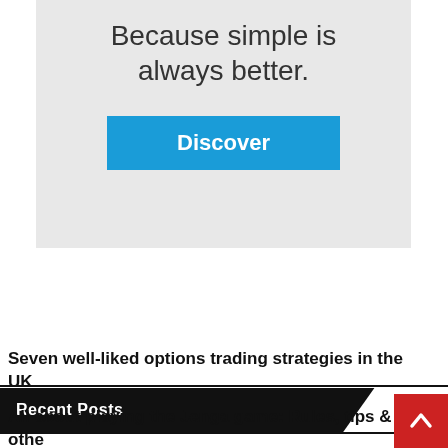[Figure (screenshot): Advertisement banner with light gray background showing the text 'Because simple is always better.' and a blue 'Discover' button]
[Figure (logo): HP logo and Chrome Enterprise logo side by side with plus sign and 'chrome enterprise' text on gray background strip]
Recent Posts
Seven well-liked options trading strategies in the UK
All about playing the Jenga game: Rules, tips & other things